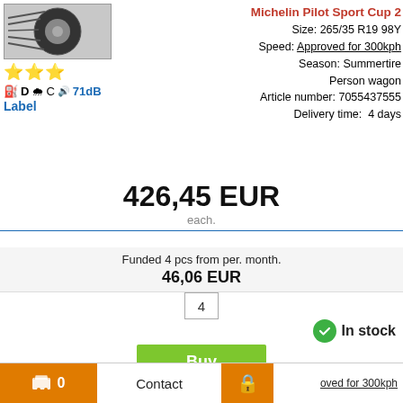[Figure (photo): Tire close-up photo, grey background]
D  C  71dB
Label
Michelin Pilot Sport Cup 2
Size: 265/35 R19 98Y
Speed: Approved for 300kph
Season: Summertire
Person wagon
Article number: 7055437555
Delivery time: 4 days
426,45 EUR
each.
Funded 4 pcs from per. month.
46,06 EUR
4
In stock
Buy
[Figure (photo): Second tire product photo, partial view at bottom]
Pilot Sport Cup 2 dt1
Size: 265/35 R19 98Y
Speed: Approved for 300kph